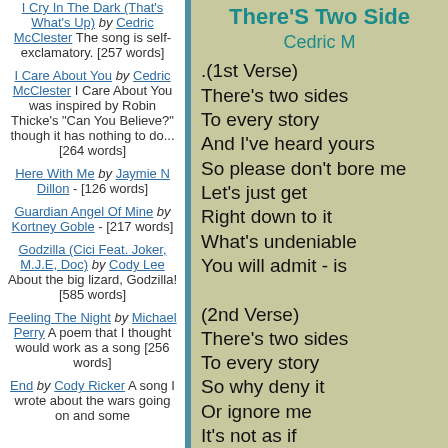I Cry In The Dark (That's What's Up) by Cedric McClester The song is self-exclamatory. [257 words]
I Care About You by Cedric McClester I Care About You was inspired by Robin Thicke's "Can You Believe?" though it has nothing to do... [264 words]
Here With Me by Jaymie N Dillon - [126 words]
Guardian Angel Of Mine by Kortney Goble - [217 words]
Godzilla (Cici Feat. Joker, M.J.E, Doc) by Cody Lee About the big lizard, Godzilla! [585 words]
Feeling The Night by Michael Perry A poem that I thought would work as a song [256 words]
End by Cody Ricker A song I wrote about the wars going on and some
There'S Two Side
Cedric M
.(1st Verse)
There's two sides
To every story
And I've heard yours
So please don't bore me
Let's just get
Right down to it
What's undeniable
You will admit - is

(2nd Verse)
There's two sides
To every story
So why deny it
Or ignore me
It's not as if
You're guilt free
And all the blame
Belongs with me

(Bridge)
When you separate